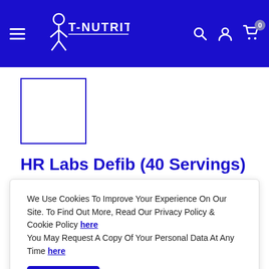T-NUTRITION — navigation header with hamburger menu, logo, search, account, and cart icons
[Figure (photo): Product image placeholder box (empty, blue border)]
HR Labs Defib (40 Servings)
Save 25%
HR LABS
We Use Cookies To Improve Your Experience On Our Site. To Find Out More, Read Our Privacy Policy & Cookie Policy here
You May Request A Copy Of Your Personal Data At Any Time here
Accept